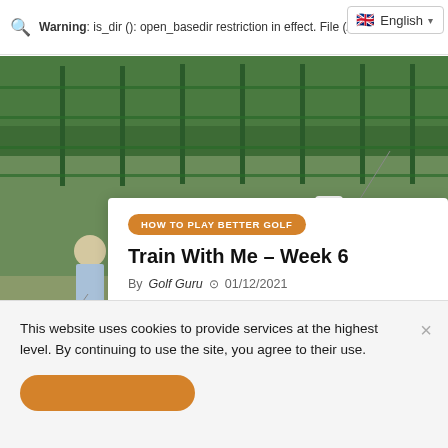Warning: is_dir (): open_basedir restriction in effect. File (/ pl…
[Figure (photo): Golf driving range scene with multiple golfers practicing, green fence in background, Titleist basket visible on left.]
HOW TO PLAY BETTER GOLF
Train With Me – Week 6
By Golf Guru  01/12/2021
This website uses cookies to provide services at the highest level. By continuing to use the site, you agree to their use.